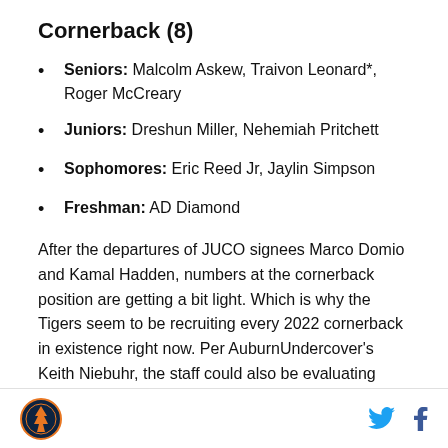Cornerback (8)
Seniors: Malcolm Askew, Traivon Leonard*, Roger McCreary
Juniors: Dreshun Miller, Nehemiah Pritchett
Sophomores: Eric Reed Jr, Jaylin Simpson
Freshman: AD Diamond
After the departures of JUCO signees Marco Domio and Kamal Hadden, numbers at the cornerback position are getting a bit light. Which is why the Tigers seem to be recruiting every 2022 cornerback in existence right now. Per AuburnUndercover's Keith Niebuhr, the staff could also be evaluating Missouri CB
Auburn logo, Twitter icon, Facebook icon